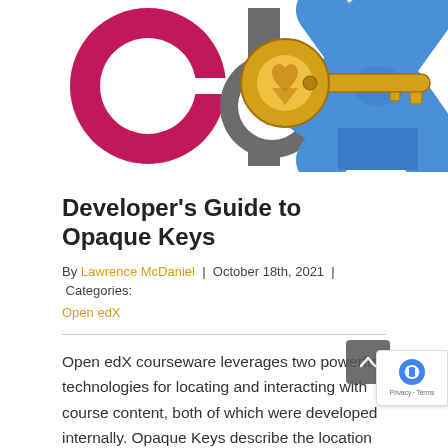[Figure (illustration): edX logo with a large golden key overlaid on top. The edX logo shows the stylized 'e' in crimson/red, 'd' in dark gray, and 'X' in blue. A golden/yellow cartoon key with heart-shaped bow is placed diagonally across the logo.]
Developer's Guide to Opaque Keys
By Lawrence McDaniel | October 18th, 2021 | Categories: Open edX
Open edX courseware leverages two powerful technologies for locating and interacting with course content, both of which were developed internally. Opaque Keys describe the location of